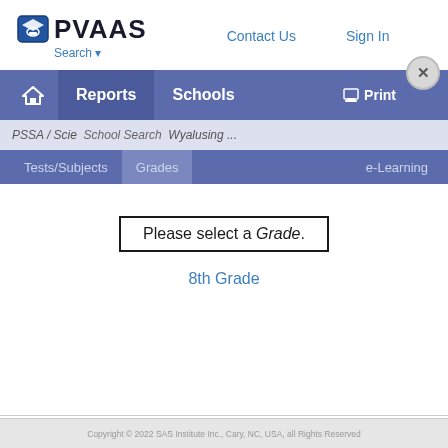[Figure (logo): PVAAS logo with mortarboard shield icon and text PVAAS]
Search ▾    Contact Us    Sign In
[Figure (screenshot): Purple navigation bar with home icon, Reports, Schools, Print, and X close button]
PSSA / Scie  School Search  Wyalusing ...
Tests/Subjects   Grades    e-Learning
Please select a Grade.
8th Grade
Copyright © 2022 SAS Institute Inc., Cary, NC, USA, all Rights Reserved